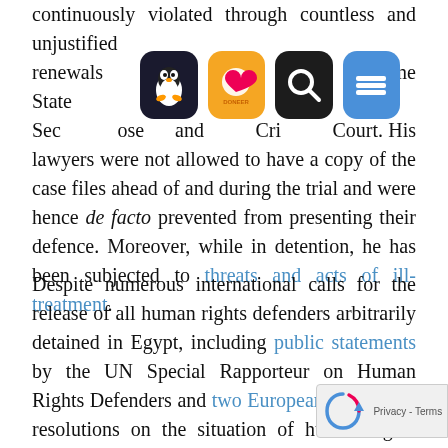continuously violated through countless and unjustified renewals [icons] more [icon] ten [icon] bo [icon] Supreme State Sec [icon] ose [icon] and [icon] Cri [icon] Court. His lawyers were not allowed to have a copy of the case files ahead of and during the trial and were hence de facto prevented from presenting their defence. Moreover, while in detention, he has been subjected to threats and acts of ill-treatment.
Despite numerous international calls for the release of all human rights defenders arbitrarily detained in Egypt, including public statements by the UN Special Rapporteur on Human Rights Defenders and two European Parliament resolutions on the situation of human rights defenders in Egypt, the authorities have turned a blind eye to these demands. Additionally, the European Union's failure to set concrete and mea... human rights benchmarks as criteria for progress... EU-E... bilateral relations has contributed to the...